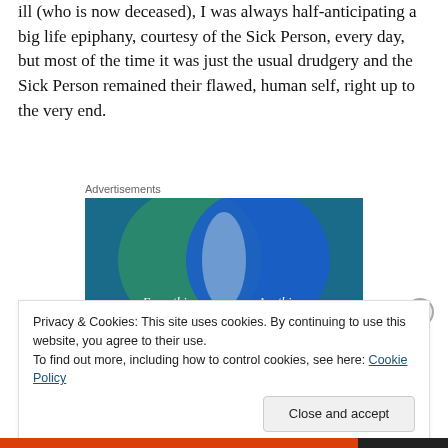ill (who is now deceased), I was always half-anticipating a big life epiphany, courtesy of the Sick Person, every day, but most of the time it was just the usual drudgery and the Sick Person remained their flawed, human self, right up to the very end.
Advertisements
[Figure (illustration): Advertisement image showing a Venn diagram with two overlapping circles on a teal/blue background. Left circle (green) says 'Everything you need', right circle (blue) says 'Anything you want'. The overlapping region is light/white.]
Privacy & Cookies: This site uses cookies. By continuing to use this website, you agree to their use.
To find out more, including how to control cookies, see here: Cookie Policy
Close and accept